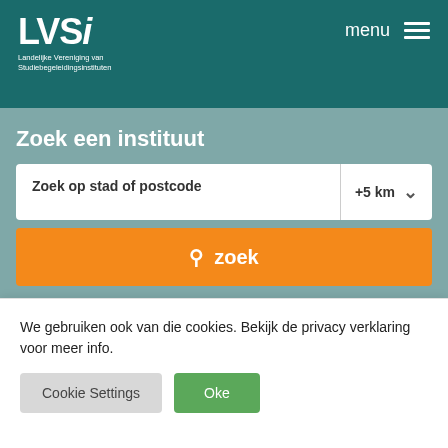[Figure (logo): LVSi logo — Landelijke Vereniging van Studiebegeleidingsinstituten, white text on teal background, with hamburger menu icon and 'menu' label top right]
Zoek een instituut
Zoek op stad of postcode
+5 km
zoek
ABC gebouw
We gebruiken ook van die cookies. Bekijk de privacy verklaring voor meer info.
Cookie Settings
Oke